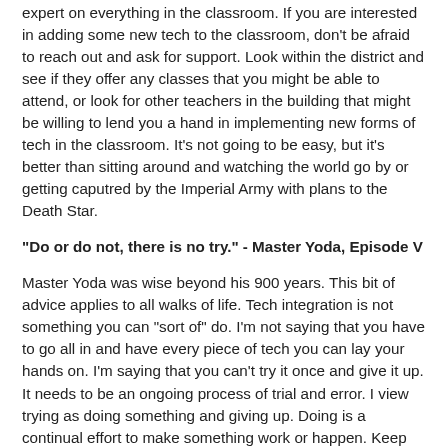expert on everything in the classroom. If you are interested in adding some new tech to the classroom, don't be afraid to reach out and ask for support. Look within the district and see if they offer any classes that you might be able to attend, or look for other teachers in the building that might be willing to lend you a hand in implementing new forms of tech in the classroom. It's not going to be easy, but it's better than sitting around and watching the world go by or getting caputred by the Imperial Army with plans to the Death Star.
"Do or do not, there is no try." - Master Yoda, Episode V
Master Yoda was wise beyond his 900 years. This bit of advice applies to all walks of life. Tech integration is not something you can "sort of" do. I'm not saying that you have to go all in and have every piece of tech you can lay your hands on. I'm saying that you can't try it once and give it up. It needs to be an ongoing process of trial and error. I view trying as doing something and giving up. Doing is a continual effort to make something work or happen. Keep fighting to find the right tech for you and your classroom. Not everything is going to work, but keep doing and you will find the right fit.